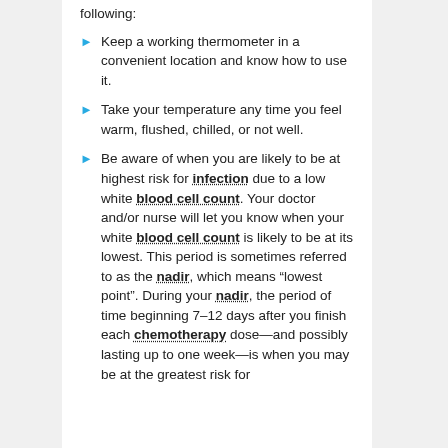following:
Keep a working thermometer in a convenient location and know how to use it.
Take your temperature any time you feel warm, flushed, chilled, or not well.
Be aware of when you are likely to be at highest risk for infection due to a low white blood cell count. Your doctor and/or nurse will let you know when your white blood cell count is likely to be at its lowest. This period is sometimes referred to as the nadir, which means “lowest point”. During your nadir, the period of time beginning 7–12 days after you finish each chemotherapy dose—and possibly lasting up to one week—is when you may be at the greatest risk for